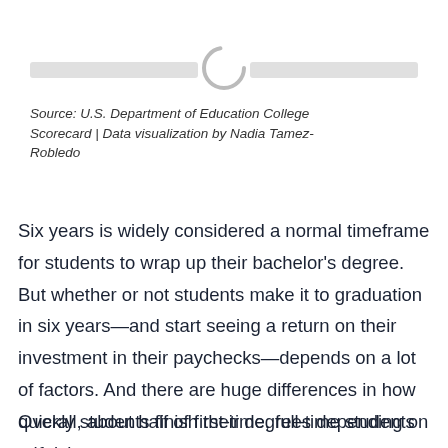[Figure (other): Loading spinner with two gray horizontal bars on either side]
Source: U.S. Department of Education College Scorecard | Data visualization by Nadia Tamez-Robledo
Six years is widely considered a normal timeframe for students to wrap up their bachelor's degree. But whether or not students make it to graduation in six years—and start seeing a return on their investment in their paychecks—depends on a lot of factors. And there are huge differences in how quickly students finish their degrees depending on ethnicity.
Overall, about half of first-time, full-time students at four-